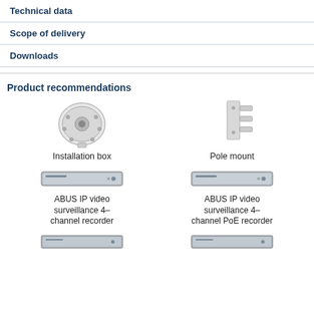Technical data
Scope of delivery
Downloads
Product recommendations
[Figure (illustration): Installation box mounting bracket, circular shape with holes]
Installation box
[Figure (illustration): Pole mount bracket, rectangular with prongs]
Pole mount
[Figure (illustration): ABUS IP video recorder device, horizontal box shape]
ABUS IP video surveillance 4-channel recorder
[Figure (illustration): ABUS IP video PoE recorder device, horizontal box shape]
ABUS IP video surveillance 4-channel PoE recorder
[Figure (illustration): Another ABUS recorder device, thin horizontal form]
[Figure (illustration): Another ABUS recorder device, thin horizontal form]